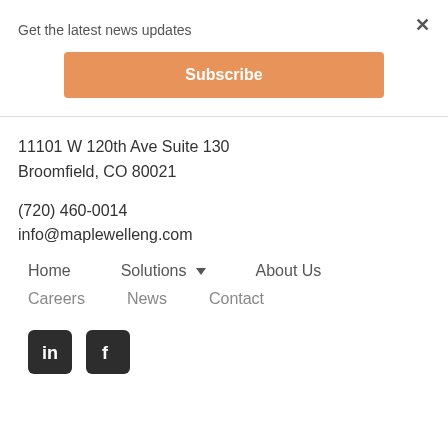Get the latest news updates
Subscribe
11101 W 120th Ave Suite 130
Broomfield, CO 80021
(720) 460-0014
info@maplewelleng.com
Home
Solutions ▼
About Us
Careers
News
Contact
[Figure (logo): LinkedIn and Facebook social media icons]